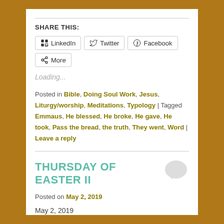SHARE THIS:
[Figure (other): Social share buttons: LinkedIn, Twitter, Facebook, More]
Loading...
Posted in Bible, Doing Soul Work, Jesus, Liturgy/worship, Meditations, Typology | Tagged Emmaus, He blessed, He broke, He gave, He took, Pass the bread, the truth, They went, Word | Leave a reply
THURSDAY OF EASTER II
Posted on May 2, 2019
May 2, 2019